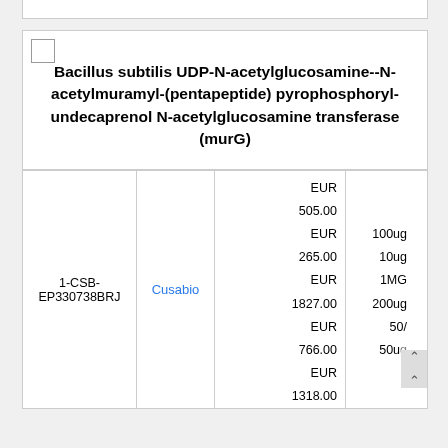| ID | Vendor | Price | Quantity |
| --- | --- | --- | --- |
| 1-CSB-EP330738BRJ | Cusabio | EUR 505.00
EUR 265.00
EUR 1827.00
EUR 766.00
EUR
1318.00 | 100ug
10ug
1MG
200ug
50/
50ug |